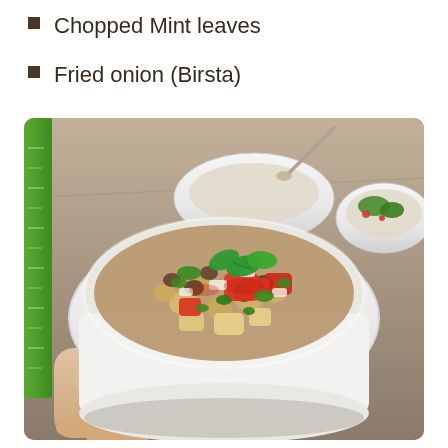Chopped Mint leaves
Fried onion (Birsta)
[Figure (photo): A hand holding a white bowl filled with a legume and vegetable dish topped with chopped tomatoes, herbs, onions, and mint leaves. In the background are two more similar white bowls on a wooden surface, one with a spoon and one with fresh herbs.]